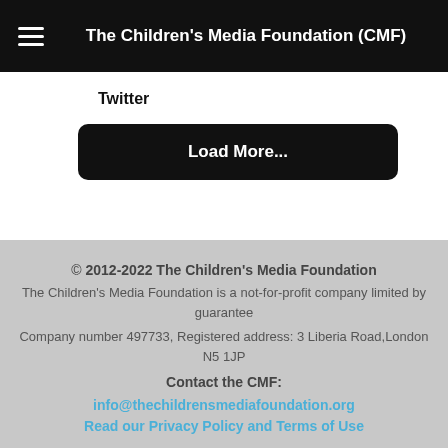The Children's Media Foundation (CMF)
Twitter
Load More...
© 2012-2022 The Children's Media Foundation
The Children's Media Foundation is a not-for-profit company limited by guarantee
Company number 497733, Registered address: 3 Liberia Road,London N5 1JP
Contact the CMF:
info@thechildrensmediafoundation.org
Read our Privacy Policy and Terms of Use